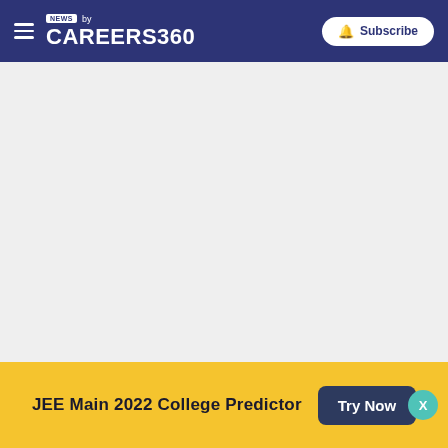NEWS by CAREERS360 | Subscribe
[Figure (other): Large gray empty content area]
Top Searches: ICSI CS Result 2022  NEET 2022  Smart India Hackath...
JEE Main 2022 College Predictor  Try Now